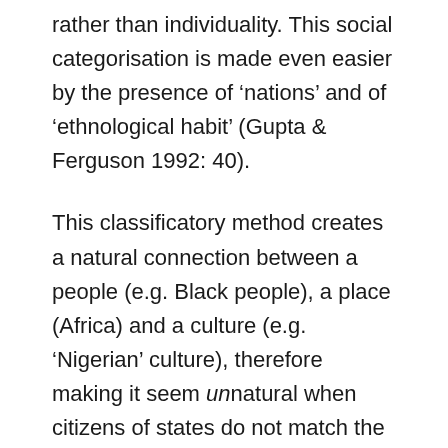rather than individuality. This social categorisation is made even easier by the presence of 'nations' and of 'ethnological habit' (Gupta & Ferguson 1992: 40).
This classificatory method creates a natural connection between a people (e.g. Black people), a place (Africa) and a culture (e.g. 'Nigerian' culture), therefore making it seem unnatural when citizens of states do not match the established spatial schema of territory/culture. Undoubtedly, the meanings attached to race and cultures, which have been used to underline national racial